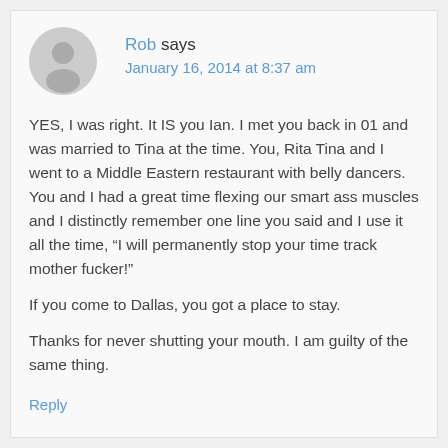Rob says
January 16, 2014 at 8:37 am
YES, I was right. It IS you Ian. I met you back in 01 and was married to Tina at the time. You, Rita Tina and I went to a Middle Eastern restaurant with belly dancers. You and I had a great time flexing our smart ass muscles and I distinctly remember one line you said and I use it all the time, “I will permanently stop your time track mother fucker!”
If you come to Dallas, you got a place to stay.
Thanks for never shutting your mouth. I am guilty of the same thing.
Reply